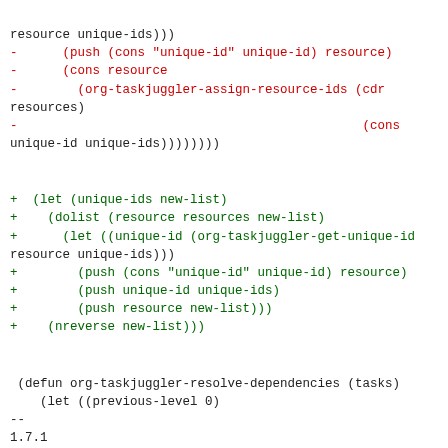resource unique-ids)))
-      (push (cons "unique-id" unique-id) resource)
-      (cons resource
-        (org-taskjuggler-assign-resource-ids (cdr resources)
-                                              (cons unique-id unique-ids))))))))
+  (let (unique-ids new-list)
+    (dolist (resource resources new-list)
+      (let ((unique-id (org-taskjuggler-get-unique-id resource unique-ids)))
+        (push (cons "unique-id" unique-id) resource)
+        (push unique-id unique-ids)
+        (push resource new-list)))
+    (nreverse new-list))
(defun org-taskjuggler-resolve-dependencies (tasks)
    (let ((previous-level 0)
--
1.7.1
^ permalink raw reply related   [flat|nested] 20+ messages in thread
* [PATCH 4/5] Remove a spurious debug statement
  2011-03-16 11:04 [PATCH 0/5] Improvements to Taskjuggler export Christian Egli
                   ` (2 preceding siblings ...)
  2011-03-16 11:05 ` [PATCH 3/5] Replace recursive